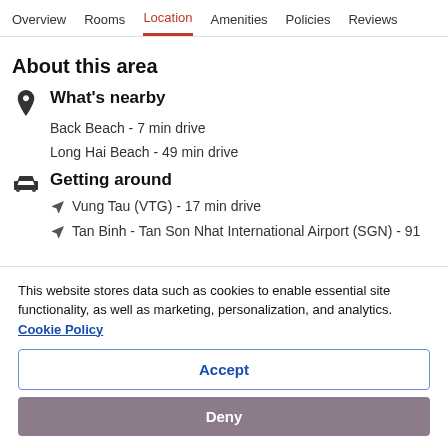Overview  Rooms  Location  Amenities  Policies  Reviews
About this area
What's nearby
Back Beach - 7 min drive
Long Hai Beach - 49 min drive
Getting around
Vung Tau (VTG) - 17 min drive
Tan Binh - Tan Son Nhat International Airport (SGN) - 91
This website stores data such as cookies to enable essential site functionality, as well as marketing, personalization, and analytics. Cookie Policy
Accept
Deny